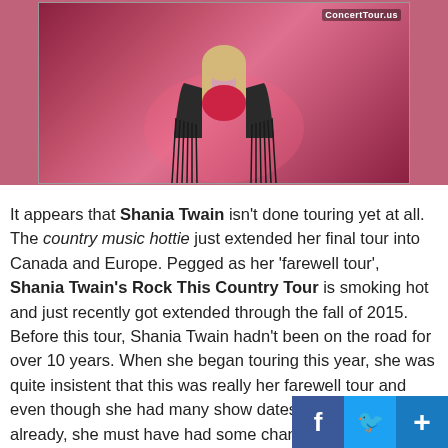[Figure (photo): Shania Twain performing on stage wearing a sparkly red outfit with a fringed black jacket, watermark reads ConcertTour.us]
It appears that Shania Twain isn't done touring yet at all. The country music hottie just extended her final tour into Canada and Europe. Pegged as her 'farewell tour', Shania Twain's Rock This Country Tour is smoking hot and just recently got extended through the fall of 2015. Before this tour, Shania Twain hadn't been on the road for over 10 years. When she began touring this year, she was quite insistent that this was really her farewell tour and even though she had many show dates carved in stone already, she must have had some change of mind because now there are more dates added. It appears as if Shania Twain will be performing all through out North America, including a lot of dates up in Canada. Then